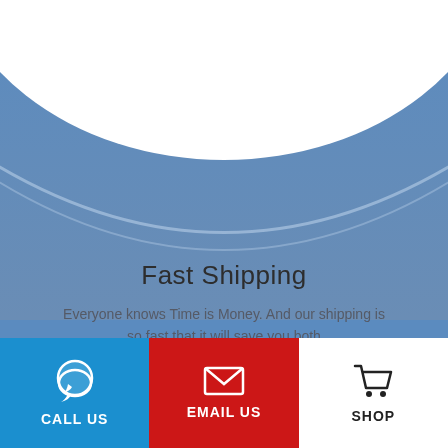[Figure (illustration): Blue wave/arc graphic background with white curved shape at top on blue gradient background]
Fast Shipping
Everyone knows Time is Money. And our shipping is so fast that it will save you both
[Figure (infographic): Three footer buttons: blue CALL US with speech bubble icon, red EMAIL US with envelope icon, white SHOP with shopping cart icon]